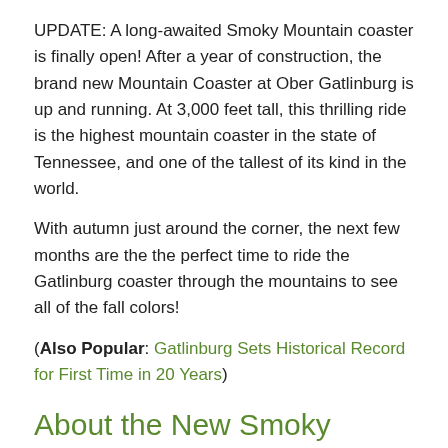UPDATE: A long-awaited Smoky Mountain coaster is finally open! After a year of construction, the brand new Mountain Coaster at Ober Gatlinburg is up and running. At 3,000 feet tall, this thrilling ride is the highest mountain coaster in the state of Tennessee, and one of the tallest of its kind in the world.
With autumn just around the corner, the next few months are the the perfect time to ride the Gatlinburg coaster through the mountains to see all of the fall colors!
(Also Popular: Gatlinburg Sets Historical Record for First Time in 20 Years)
About the New Smoky Mountain Coaster at Ober Gatlinburg